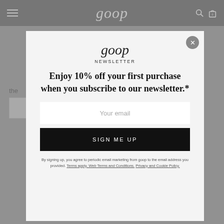goop
[Figure (screenshot): Goop website header with hamburger menu, goop logo, search icon, and cart icon (0 items) on dark gray background]
goop
NEWSLETTER
Enjoy 10% off your first purchase when you subscribe to our newsletter.*
Your email
SIGN ME UP
By signing up, you agree to periodic email marketing from goop to the email address you provided. Terms apply. Web Terms and Conditions. Privacy and Cookie Policy.